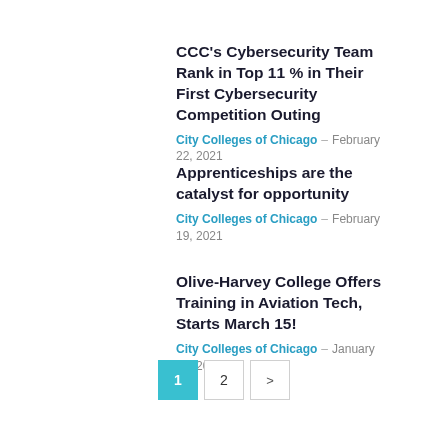CCC's Cybersecurity Team Rank in Top 11 % in Their First Cybersecurity Competition Outing
City Colleges of Chicago – February 22, 2021
Apprenticeships are the catalyst for opportunity
City Colleges of Chicago – February 19, 2021
Olive-Harvey College Offers Training in Aviation Tech, Starts March 15!
City Colleges of Chicago – January 26, 2021